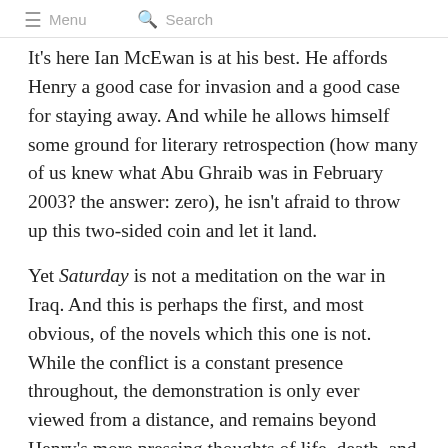≡  Menu  🔍  Search
It's here Ian McEwan is at his best. He affords Henry a good case for invasion and a good case for staying away. And while he allows himself some ground for literary retrospection (how many of us knew what Abu Ghraib was in February 2003? the answer: zero), he isn't afraid to throw up this two-sided coin and let it land.
Yet Saturday is not a meditation on the war in Iraq. And this is perhaps the first, and most obvious, of the novels which this one is not. While the conflict is a constant presence throughout, the demonstration is only ever viewed from a distance, and remains beyond Henry's more pressing thoughts of life, death, and making his squash game on time. Even the heated argument he has with his daughter, described with a frankness